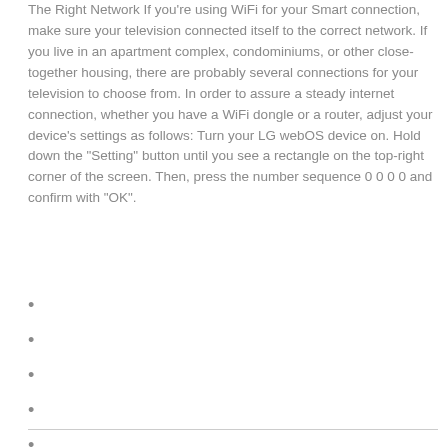The Right Network If you're using WiFi for your Smart connection, make sure your television connected itself to the correct network. If you live in an apartment complex, condominiums, or other close-together housing, there are probably several connections for your television to choose from. In order to assure a steady internet connection, whether you have a WiFi dongle or a router, adjust your device's settings as follows: Turn your LG webOS device on. Hold down the "Setting" button until you see a rectangle on the top-right corner of the screen. Then, press the number sequence 0 0 0 0 and confirm with "OK".